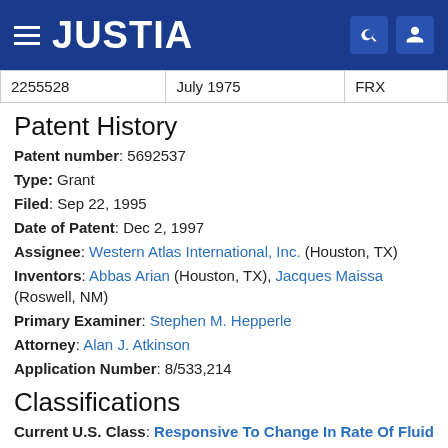JUSTIA
| 2255528 | July 1975 | FRX |
Patent History
Patent number: 5692537
Type: Grant
Filed: Sep 22, 1995
Date of Patent: Dec 2, 1997
Assignee: Western Atlas International, Inc. (Houston, TX)
Inventors: Abbas Arian (Houston, TX), Jacques Maissa (Roswell, NM)
Primary Examiner: Stephen M. Hepperle
Attorney: Alan J. Atkinson
Application Number: 8/533,214
Classifications
Current U.S. Class: Responsive To Change In Rate Of Fluid Flow (137/486): 137/4875: 137/4925